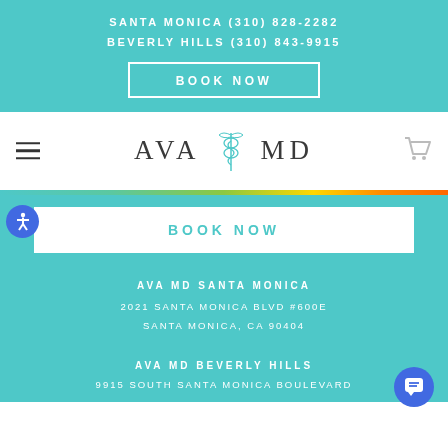SANTA MONICA (310) 828-2282
BEVERLY HILLS (310) 843-9915
BOOK NOW
[Figure (logo): AVA MD logo with caduceus symbol between the words]
BOOK NOW
AVA MD SANTA MONICA
2021 SANTA MONICA BLVD #600E
SANTA MONICA, CA 90404
AVA MD BEVERLY HILLS
9915 SOUTH SANTA MONICA BOULEVARD